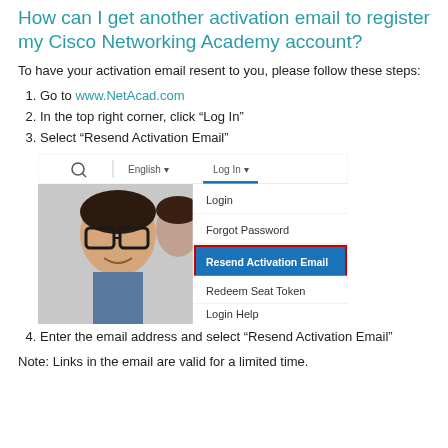How can I get another activation email to register my Cisco Networking Academy account?
To have your activation email resent to you, please follow these steps:
1. Go to www.NetAcad.com
2. In the top right corner, click “Log In”
3. Select “Resend Activation Email”
[Figure (screenshot): Screenshot of the NetAcad.com website showing the Log In dropdown menu with options: Login, Forgot Password, Resend Activation Email (highlighted in blue with red border), Redeem Seat Token, Login Help. A photo of a smiling young man wearing glasses is visible on the left side.]
4. Enter the email address and select “Resend Activation Email”
Note: Links in the email are valid for a limited time.